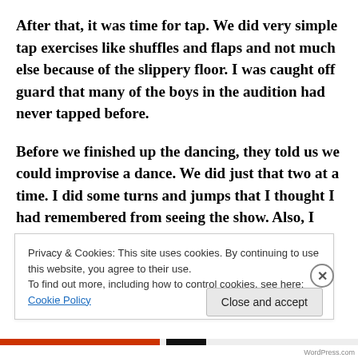After that, it was time for tap. We did very simple tap exercises like shuffles and flaps and not much else because of the slippery floor. I was caught off guard that many of the boys in the audition had never tapped before.
Before we finished up the dancing, they told us we could improvise a dance. We did just that two at a time. I did some turns and jumps that I thought I had remembered from seeing the show. Also, I tried to throw in the limited acrobatics I knew because I knew
Privacy & Cookies: This site uses cookies. By continuing to use this website, you agree to their use.
To find out more, including how to control cookies, see here: Cookie Policy
Close and accept